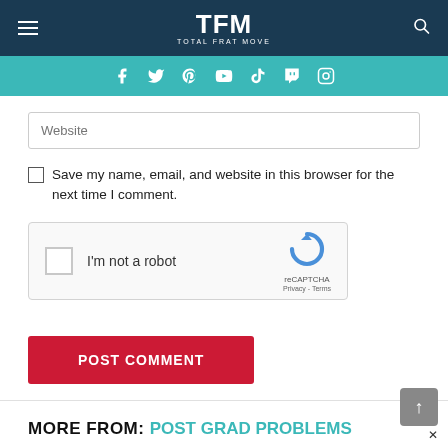TFM TOTAL FRAT MOVE
Website
Save my name, email, and website in this browser for the next time I comment.
[Figure (other): reCAPTCHA widget with checkbox, 'I'm not a robot' text, reCAPTCHA logo, Privacy and Terms links]
POST COMMENT
MORE FROM: POST GRAD PROBLEMS